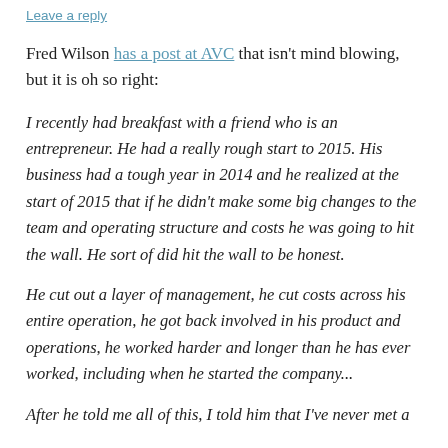Leave a reply
Fred Wilson has a post at AVC that isn't mind blowing, but it is oh so right:
I recently had breakfast with a friend who is an entrepreneur. He had a really rough start to 2015. His business had a tough year in 2014 and he realized at the start of 2015 that if he didn't make some big changes to the team and operating structure and costs he was going to hit the wall. He sort of did hit the wall to be honest.
He cut out a layer of management, he cut costs across his entire operation, he got back involved in his product and operations, he worked harder and longer than he has ever worked, including when he started the company...
After he told me all of this, I told him that I've never met a